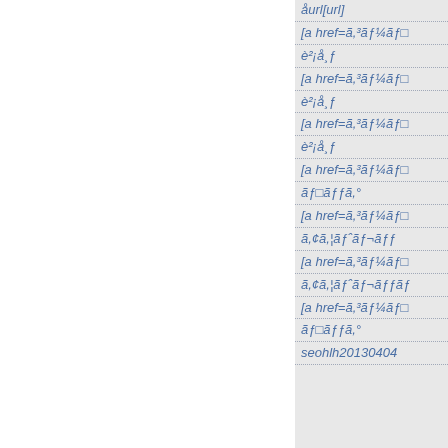åurl[url]
[a href=ã,³ãƒ¼ãƒ
è²¡å¸ƒ
[a href=ã,³ãƒ¼ãƒ
è²¡å¸ƒ
[a href=ã,³ãƒ¼ãƒ
è²¡å¸ƒ
[a href=ã,³ãƒ¼ãƒ
ãƒ‚ãƒƒã,°
[a href=ã,³ãƒ¼ãƒ
ã,¢ã,¦ãƒˆãƒ¬ãƒƒ
[a href=ã,³ãƒ¼ãƒ
ã,¢ã,¦ãƒˆãƒ¬ãƒƒãƒ
[a href=ã,³ãƒ¼ãƒ
ãƒ‚ãƒƒã,°
seohlh20130404